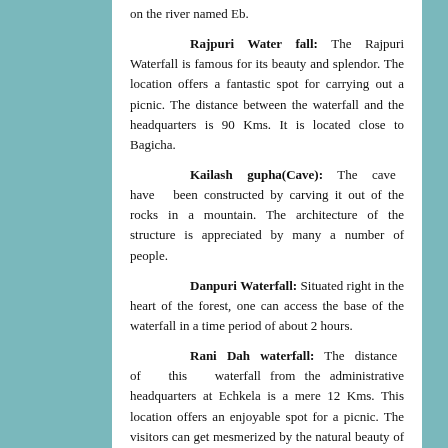on the river named Eb.
Rajpuri Water fall: The Rajpuri Waterfall is famous for its beauty and splendor. The location offers a fantastic spot for carrying out a picnic. The distance between the waterfall and the headquarters is 90 Kms. It is located close to Bagicha.
Kailash gupha(Cave): The cave have been constructed by carving it out of the rocks in a mountain. The architecture of the structure is appreciated by many a number of people.
Danpuri Waterfall: Situated right in the heart of the forest, one can access the base of the waterfall in a time period of about 2 hours.
Rani Dah waterfall: The distance of this waterfall from the administrative headquarters at Echkela is a mere 12 Kms. This location offers an enjoyable spot for a picnic. The visitors can get mesmerized by the natural beauty of the place.
Cathedral (Mahagirja Ghar) Kunkuri: As per the anti Christian groups, this Cathedral ranks second. In the year 1962, the construction of this Cathedral took place during the time of the Late Rev. Bishop Stanislas Tigga. The construction